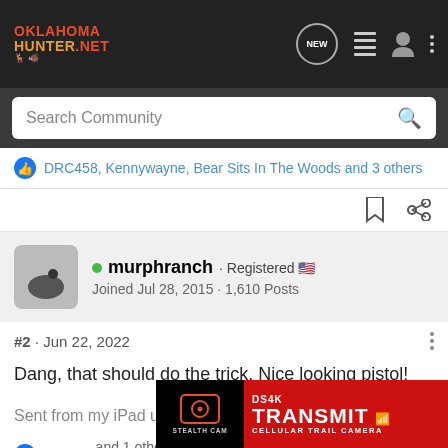[Figure (screenshot): OklahomaHunter.net website header with logo and navigation icons including NEW chat bubble, list icon, user icon, and three-dot menu]
Search Community
DRC458, Kennywayne, Bear Sits In The Woods and 3 others
murphranch · Registered 🇺🇸
Joined Jul 28, 2015 · 1,610 Posts
#2 · Jun 22, 2022
Dang, that should do the trick. Nice looking pistol!
Sent from my iPad using Tapatalk
Kenny [and] 1 other person
[Figure (screenshot): Stealth Cam DS4K TRANSMiT Cellular Trail Camera advertisement banner]